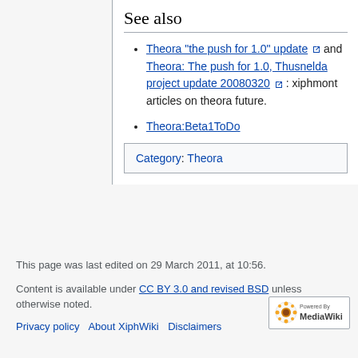See also
Theora "the push for 1.0" update [external link] and Theora: The push for 1.0, Thusnelda project update 20080320 [external link]: xiphmont articles on theora future.
Theora:Beta1ToDo
| Category:  Theora |
This page was last edited on 29 March 2011, at 10:56.
Content is available under CC BY 3.0 and revised BSD unless otherwise noted.
Privacy policy   About XiphWiki   Disclaimers